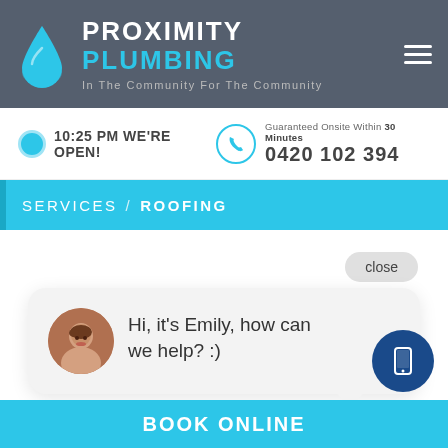PROXIMITY PLUMBING — In The Community For The Community
10:25 PM WE'RE OPEN!
Guaranteed Onsite Within 30 Minutes
0420 102 394
SERVICES / ROOFING
close
Hi, it's Emily, how can we help? :)
BOOK ONLINE